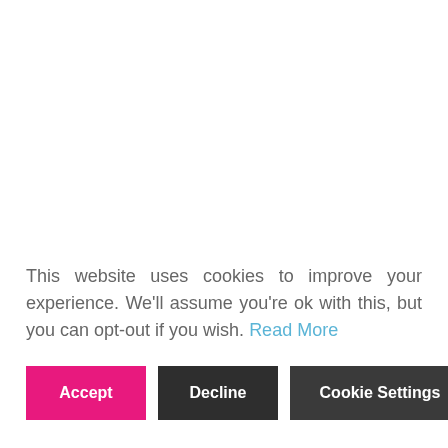This website uses cookies to improve your experience. We'll assume you're ok with this, but you can opt-out if you wish. Read More